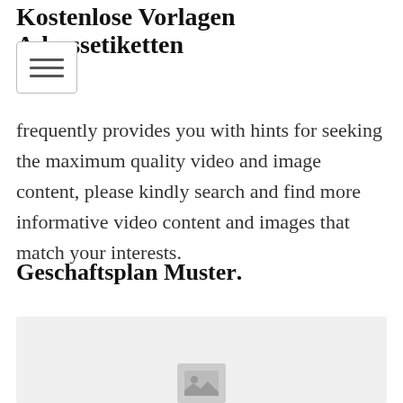Kostenlose Vorlagen Adressetiketten
[Figure (other): Hamburger/navigation menu toggle button with three horizontal lines]
frequently provides you with hints for seeking the maximum quality video and image content, please kindly search and find more informative video content and images that match your interests.
Geschaftsplan Muster.
[Figure (other): Image placeholder with mountain/photo icon on a light gray background]